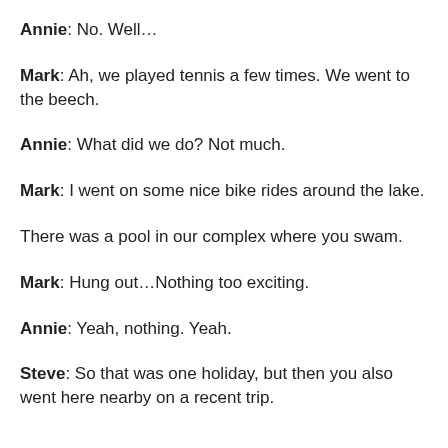Annie: No. Well…
Mark: Ah, we played tennis a few times. We went to the beech.
Annie: What did we do? Not much.
Mark: I went on some nice bike rides around the lake.
There was a pool in our complex where you swam.
Mark: Hung out…Nothing too exciting.
Annie: Yeah, nothing. Yeah.
Steve: So that was one holiday, but then you also went here nearby on a recent trip.